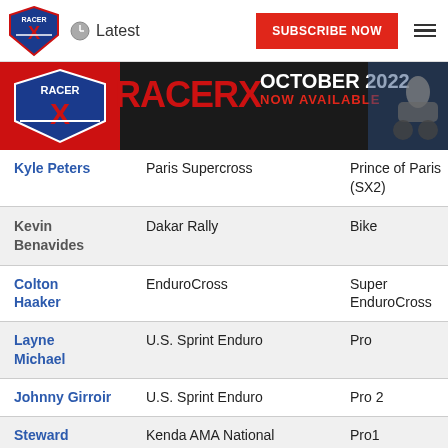Latest | SUBSCRIBE NOW
[Figure (illustration): Racer X magazine October 2022 Now Available banner with motocross rider]
| Rider | Event | Category |
| --- | --- | --- |
| Kyle Peters | Paris Supercross | Prince of Paris (SX2) |
| Kevin Benavides | Dakar Rally | Bike |
| Colton Haaker | EnduroCross | Super EnduroCross |
| Layne Michael | U.S. Sprint Enduro | Pro |
| Johnny Girroir | U.S. Sprint Enduro | Pro 2 |
| Steward Baylor Jr. | Kenda AMA National Enduro Series | Pro1 |
|  | Kenda AMA National |  |